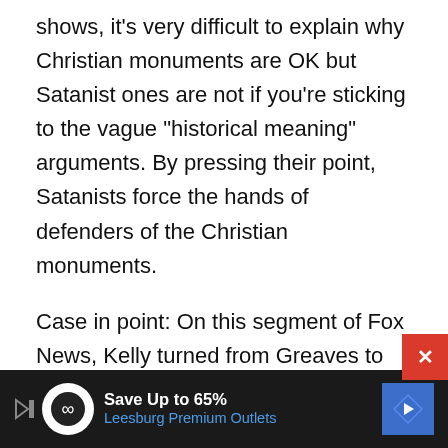shows, it's very difficult to explain why Christian monuments are OK but Satanist ones are not if you're sticking to the vague “historical meaning” arguments. By pressing their point, Satanists force the hands of defenders of the Christian monuments.
Case in point: On this segment of Fox News, Kelly turned from Greaves to Randy Brogdon, the former Oklahoma state senator who got the Ten Commandments monument in the first place. Unable to answer any of Greaves’ arguments, Brogdon resorted to basically admitting that the purpose of the monument was to endorse Christianity above all other religions, by arguing that Oklahoma has “different
[Figure (other): Advertisement banner for Leesburg Premium Outlets: Save Up to 65%, dark background with white and blue text, circular logo icon, and blue diamond-shaped arrow logo]